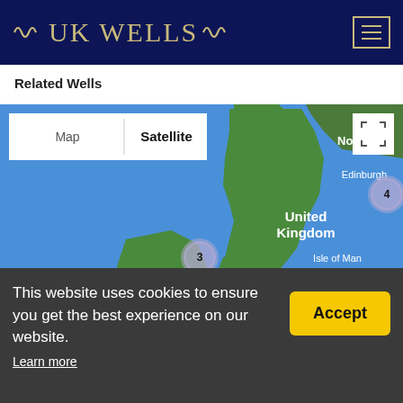UK WELLS
Related Wells
[Figure (map): Google Maps satellite view of the United Kingdom and Ireland showing clustered well markers: Edinburgh (4), a location near Ireland/Northern Ireland (3), Manchester area (9). Labels visible: Edinburgh, United Kingdom, Isle of Man, Dublin, Ireland, Manchester, Birmingham. Map/Satellite toggle visible at top left, fullscreen button top right.]
This website uses cookies to ensure you get the best experience on our website.
Learn more
Accept